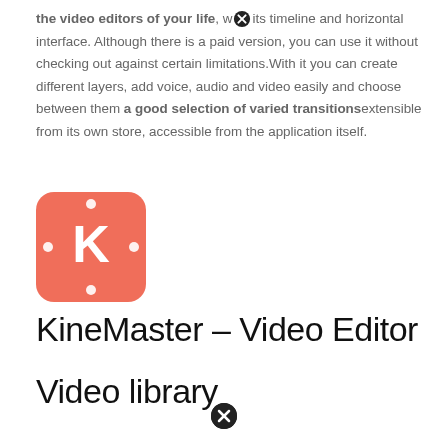the video editors of your life, with its timeline and horizontal interface. Although there is a paid version, you can use it without checking out against certain limitations.With it you can create different layers, add voice, audio and video easily and choose between them a good selection of varied transitions extensible from its own store, accessible from the application itself.
[Figure (logo): KineMaster app icon: red/coral rounded square with a white K logo and dots]
KineMaster – Video Editor
Video library